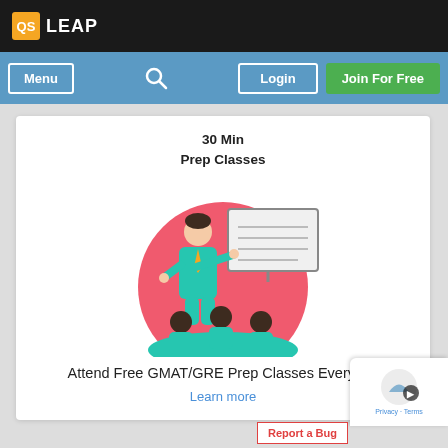QS LEAP
[Figure (illustration): Navigation bar with Menu button, search icon, Login button, and Join For Free green button on a blue background]
[Figure (illustration): Card showing '30 Min Prep Classes' with an illustration of a teacher presenting to students in a circular red background]
Attend Free GMAT/GRE Prep Classes Everyday
Learn more
Report a Bug